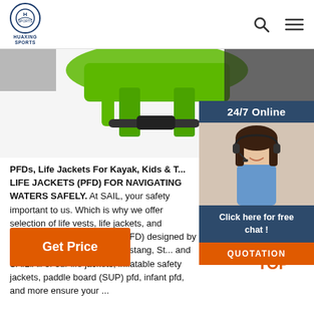HUAXING SPORTS
[Figure (photo): Green life jacket / PFD product image on white background, partially visible at top]
[Figure (photo): 24/7 Online chat widget with female customer service agent wearing headset, with 'Click here for free chat!' text and QUOTATION button]
PFDs, Life Jackets For Kayak, Kids & T... LIFE JACKETS (PFD) FOR NAVIGATING WATERS SAFELY. At SAIL, your safety important to us. Which is why we offer selection of life vests, life jackets, and personal floatation devices (PFD) designed by renowned brands such as Mustang, St... and SAIL.All of our life jackets, inflatable safety jackets, paddle board (SUP) pfd, infant pfd, and more ensure your ...
[Figure (other): Orange TOP button with dot pattern arrow pointing up]